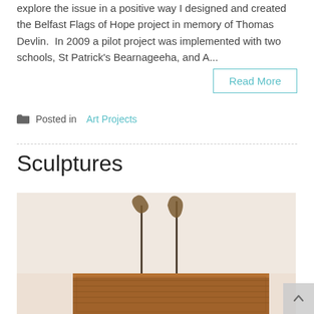explore the issue in a positive way I designed and created the Belfast Flags of Hope project in memory of Thomas Devlin.  In 2009 a pilot project was implemented with two schools, St Patrick's Bearnageeha, and A...
Read More
Posted in Art Projects
Sculptures
[Figure (photo): Photo of two small sculptural figures mounted on metal rods, rising from a carved wooden block. The figures appear bird-like or leaf-like. Background is pale/white.]